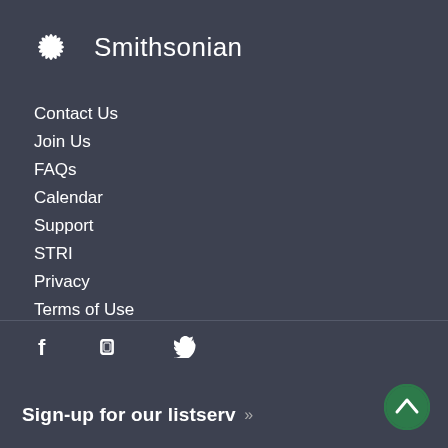[Figure (logo): Smithsonian Institution logo: white starburst/asterisk icon with text 'Smithsonian' to the right]
Contact Us
Join Us
FAQs
Calendar
Support
STRI
Privacy
Terms of Use
[Figure (infographic): Social media icons: Facebook, Flickr, Twitter]
Sign-up for our listserv »